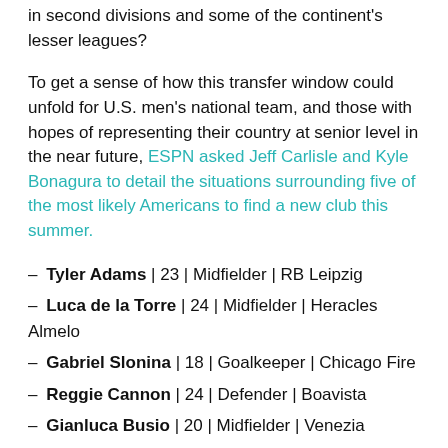in second divisions and some of the continent's lesser leagues?
To get a sense of how this transfer window could unfold for U.S. men's national team, and those with hopes of representing their country at senior level in the near future, ESPN asked Jeff Carlisle and Kyle Bonagura to detail the situations surrounding five of the most likely Americans to find a new club this summer.
– Tyler Adams | 23 | Midfielder | RB Leipzig
– Luca de la Torre | 24 | Midfielder | Heracles Almelo
– Gabriel Slonina | 18 | Goalkeeper | Chicago Fire
– Reggie Cannon | 24 | Defender | Boavista
– Gianluca Busio | 20 | Midfielder | Venezia
14.13 BST: Stop us if you've heard this one before but Barcelona are planning for a big summer